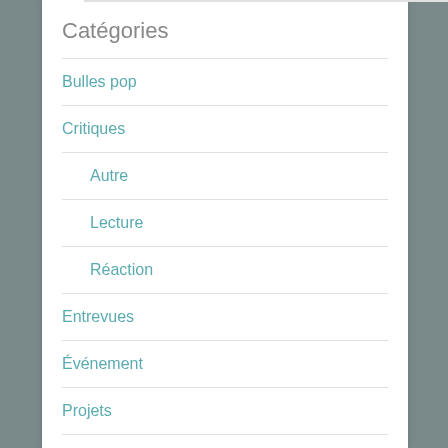Catégories
Bulles pop
Critiques
Autre
Lecture
Réaction
Entrevues
Événement
Projets